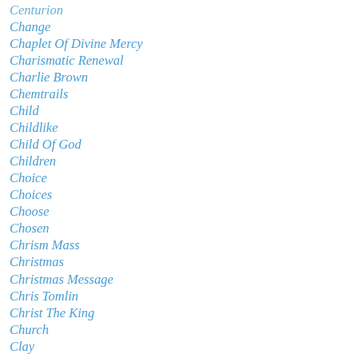Centurion
Change
Chaplet Of Divine Mercy
Charismatic Renewal
Charlie Brown
Chemtrails
Child
Childlike
Child Of God
Children
Choice
Choices
Choose
Chosen
Chrism Mass
Christmas
Christmas Message
Chris Tomlin
Christ The King
Church
Clay